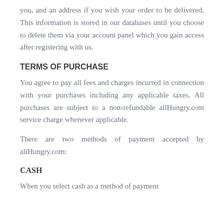you, and an address if you wish your order to be delivered. This information is stored in our databases until you choose to delete them via your account panel which you gain access after registering with us.
TERMS OF PURCHASE
You agree to pay all fees and charges incurred in connection with your purchases including any applicable taxes. All purchases are subject to a non-refundable allHungry.com service charge whenever applicable.
There are two methods of payment accepted by allHungry.com:
CASH
When you select cash as a method of payment during your order, you agree to pay with the...